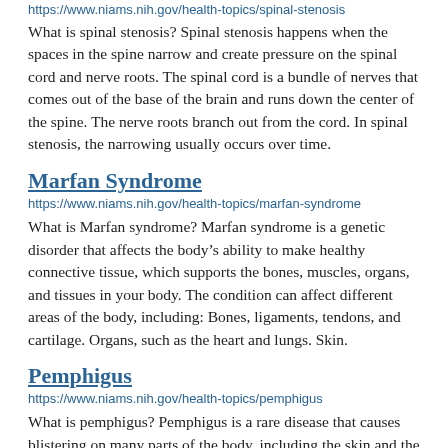https://www.niams.nih.gov/health-topics/spinal-stenosis
What is spinal stenosis? Spinal stenosis happens when the spaces in the spine narrow and create pressure on the spinal cord and nerve roots. The spinal cord is a bundle of nerves that comes out of the base of the brain and runs down the center of the spine. The nerve roots branch out from the cord. In spinal stenosis, the narrowing usually occurs over time.
Marfan Syndrome
https://www.niams.nih.gov/health-topics/marfan-syndrome
What is Marfan syndrome? Marfan syndrome is a genetic disorder that affects the body’s ability to make healthy connective tissue, which supports the bones, muscles, organs, and tissues in your body. The condition can affect different areas of the body, including: Bones, ligaments, tendons, and cartilage. Organs, such as the heart and lungs. Skin.
Pemphigus
https://www.niams.nih.gov/health-topics/pemphigus
What is pemphigus? Pemphigus is a rare disease that causes blistering on many parts of the body, including the skin and the inside of the mouth, nose, throat, eyes, and genitals. In pemphigus,